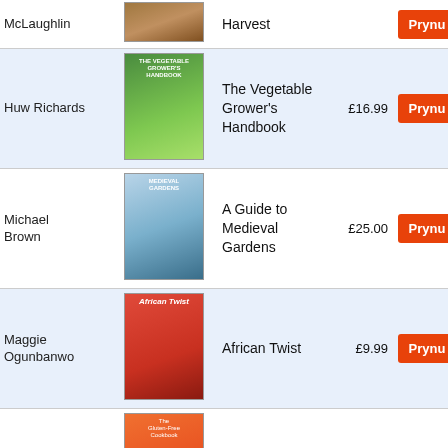| Author | Cover | Title | Price | Button |
| --- | --- | --- | --- | --- |
| McLaughlin |  | Harvest |  | Prynu |
| Huw Richards |  | The Vegetable Grower's Handbook | £16.99 | Prynu |
| Michael Brown |  | A Guide to Medieval Gardens | £25.00 | Prynu |
| Maggie Ogunbanwo |  | African Twist | £9.99 | Prynu |
| Cristian Broglia |  | The Gluten-Free Cookbook | £35.00 | Prynu |
| Kate Allinson |  | Pinch of Nom Comfort Food | £20.00 | Prynu |
| David Frenkiel |  | The Green Kitchen | £15.00 | Prynu |